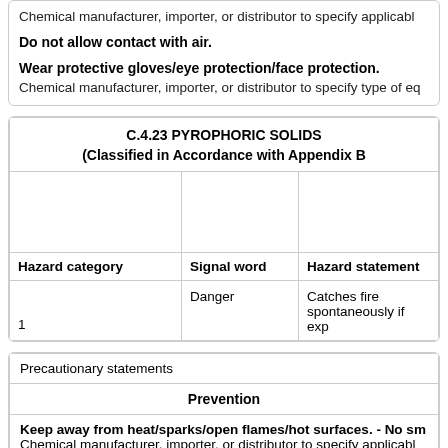Chemical manufacturer, importer, or distributor to specify applicable
Do not allow contact with air.
Wear protective gloves/eye protection/face protection.
Chemical manufacturer, importer, or distributor to specify type of eq
|  | C.4.23 PYROPHORIC SOLIDS (Classified in Accordance with Appendix B |
| --- | --- |
|  |  |  |
| Hazard category | Signal word | Hazard statement |
| 1 | Danger | Catches fire spontaneously if exp |
| Precautionary statements |
| --- |
| Prevention |
| Keep away from heat/sparks/open flames/hot surfaces. - No sm | Chemical manufacturer, importer, or distributor to specify applicabl |